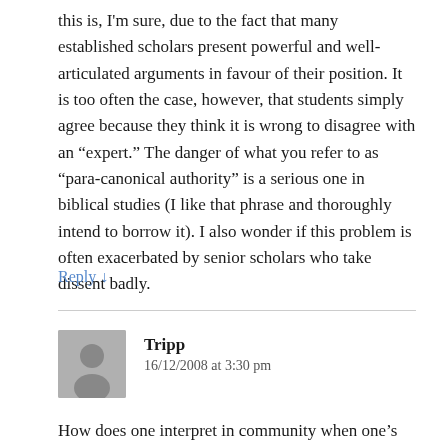this is, I'm sure, due to the fact that many established scholars present powerful and well-articulated arguments in favour of their position. It is too often the case, however, that students simply agree because they think it is wrong to disagree with an “expert.” The danger of what you refer to as “para-canonical authority” is a serious one in biblical studies (I like that phrase and thoroughly intend to borrow it). I also wonder if this problem is often exacerbated by senior scholars who take dissent badly.
Reply ↓
Tripp
16/12/2008 at 3:30 pm
How does one interpret in community when one’s